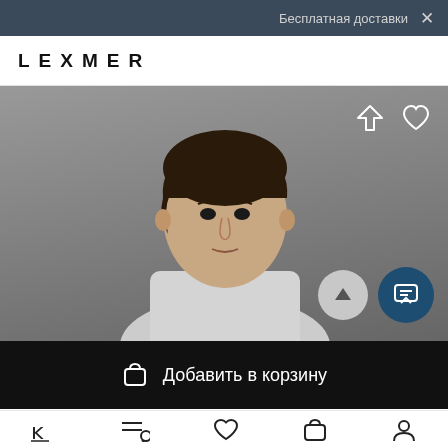Бесплатная доставк ×
LEXMER
[Figure (photo): Young man with dark hair wearing a light grey t-shirt, photographed against a grey background. Product photo for fashion e-commerce.]
Добавить в корзину
Navigation bar with home, search, favorites, cart, and profile icons